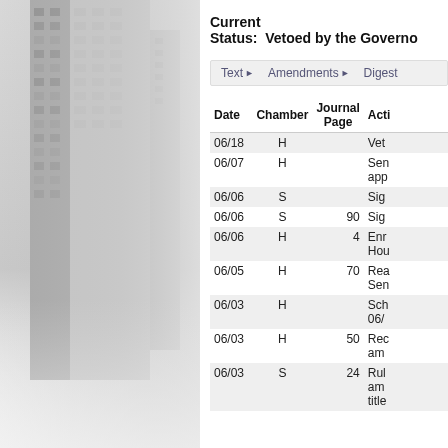[Figure (photo): Black and white/faded photo of a tall government or office building facade, multi-story, with regular window grid pattern, foggy/misty appearance]
Current
Status:  Vetoed by the Governor
Text ▶   Amendments ▶   Digest
| Date | Chamber | Journal Page | Action |
| --- | --- | --- | --- |
| 06/18 | H |  | Vet... |
| 06/07 | H |  | Sen... app... |
| 06/06 | S |  | Sig... |
| 06/06 | S | 90 | Sig... |
| 06/06 | H | 4 | Enr... Hou... |
| 06/05 | H | 70 | Rea... Sen... |
| 06/03 | H |  | Sch... 06/... |
| 06/03 | H | 50 | Rec... am... |
| 06/03 | S | 24 | Rul... am... title... |